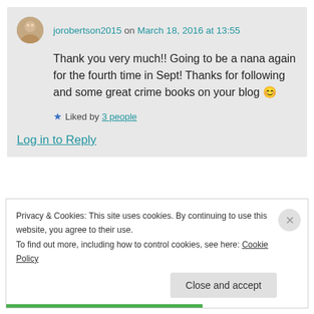jorobertson2015 on March 18, 2016 at 13:55
Thank you very much!! Going to be a nana again for the fourth time in Sept! Thanks for following and some great crime books on your blog 😊
Liked by 3 people
Log in to Reply
Privacy & Cookies: This site uses cookies. By continuing to use this website, you agree to their use. To find out more, including how to control cookies, see here: Cookie Policy
Close and accept